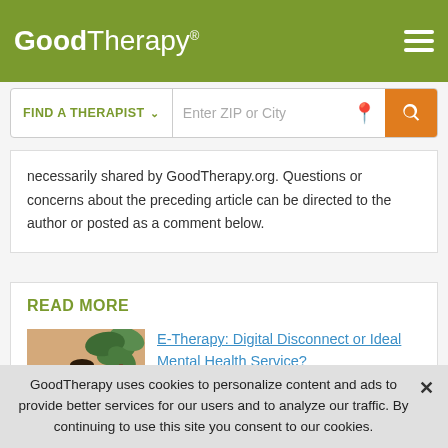GoodTherapy®
necessarily shared by GoodTherapy.org. Questions or concerns about the preceding article can be directed to the author or posted as a comment below.
READ MORE
[Figure (photo): Person sitting with laptop computer, plant in background]
E-Therapy: Digital Disconnect or Ideal Mental Health Service?
GoodTherapy uses cookies to personalize content and ads to provide better services for our users and to analyze our traffic. By continuing to use this site you consent to our cookies.